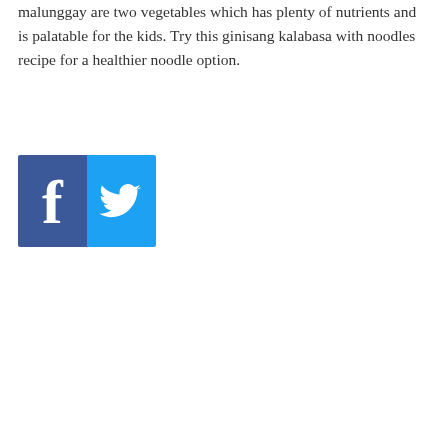malunggay are two vegetables which has plenty of nutrients and is palatable for the kids. Try this ginisang kalabasa with noodles recipe for a healthier noodle option.
[Figure (other): Social media share buttons: Facebook (blue, f logo) and Twitter (light blue, bird logo)]